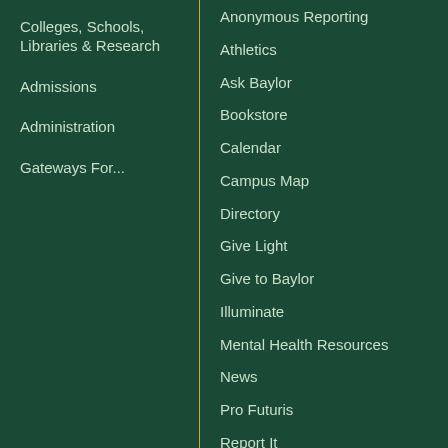Colleges, Schools, Libraries & Research
Admissions
Administration
Gateways For...
Anonymous Reporting
Athletics
Ask Baylor
Bookstore
Calendar
Campus Map
Directory
Give Light
Give to Baylor
Illuminate
Mental Health Resources
News
Pro Futuris
Report It
Search